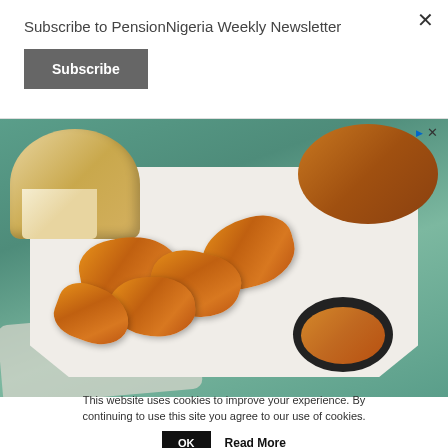Subscribe to PensionNigeria Weekly Newsletter
Subscribe
[Figure (photo): Food advertisement showing fried chicken pieces on a white octagonal plate with a dipping sauce in a dark bowl, accompanied by bread rolls, on a teal wooden surface.]
This website uses cookies to improve your experience. By continuing to use this site you agree to our use of cookies.
OK
Read More